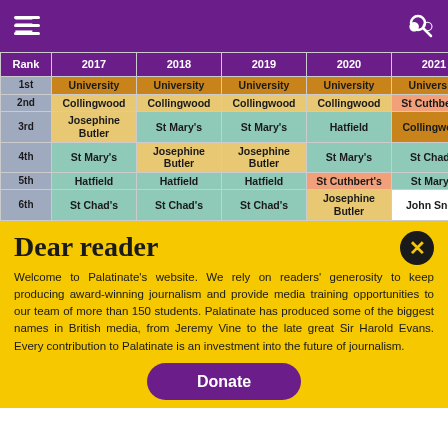≡  🔍
| Rank | 2017 | 2018 | 2019 | 2020 | 2021 |
| --- | --- | --- | --- | --- | --- |
| 1st | University | University | University | University | University |
| 2nd | Collingwood | Collingwood | Collingwood | Collingwood | St Cuthbert's |
| 3rd | Josephine Butler | St Mary's | St Mary's | Hatfield | Collingwood |
| 4th | St Mary's | Josephine Butler | Josephine Butler | St Mary's | St Chad's |
| 5th | Hatfield | Hatfield | Hatfield | St Cuthbert's | St Mary's |
| 6th | St Chad's | St Chad's | St Chad's | Josephine Butler | John Snow |
Dear reader
Welcome to Palatinate's website. We rely on readers' generosity to keep producing award-winning journalism and provide media training opportunities to our team of more than 150 students. Palatinate has produced some of the biggest names in British media, from Jeremy Vine to the late great Sir Harold Evans. Every contribution to Palatinate is an investment into the future of journalism.
Donate